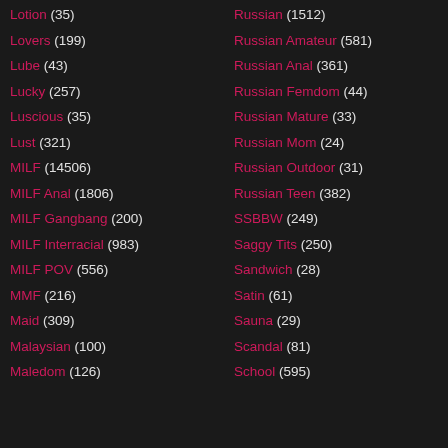Lotion (35)
Lovers (199)
Lube (43)
Lucky (257)
Luscious (35)
Lust (321)
MILF (14506)
MILF Anal (1806)
MILF Gangbang (200)
MILF Interracial (983)
MILF POV (556)
MMF (216)
Maid (309)
Malaysian (100)
Maledom (126)
Russian (1512)
Russian Amateur (581)
Russian Anal (361)
Russian Femdom (44)
Russian Mature (33)
Russian Mom (24)
Russian Outdoor (31)
Russian Teen (382)
SSBBW (249)
Saggy Tits (250)
Sandwich (28)
Satin (61)
Sauna (29)
Scandal (81)
School (595)